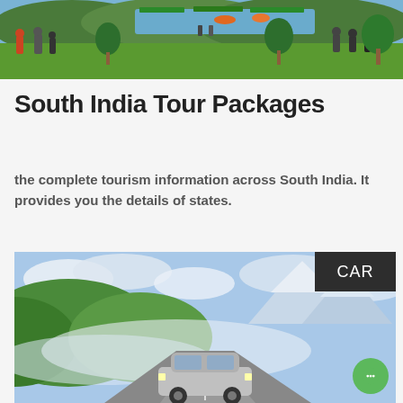[Figure (photo): A lakeside or riverside tourist area with green lawns, trees, people walking, parasols and boats visible in the background under a blue sky.]
South India Tour Packages
the complete tourism information across South India. It provides you the details of states.
[Figure (photo): A car driving on a mountain road surrounded by mist, green hillsides, and snow-capped peaks in the background. A dark label overlay reads 'CAR'.]